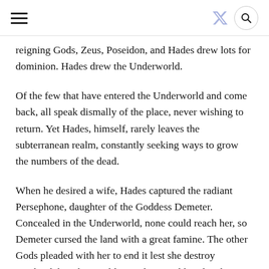Navigation header with hamburger menu, Twitter icon, and search button
reigning Gods, Zeus, Poseidon, and Hades drew lots for dominion. Hades drew the Underworld.
Of the few that have entered the Underworld and come back, all speak dismally of the place, never wishing to return. Yet Hades, himself, rarely leaves the subterranean realm, constantly seeking ways to grow the numbers of the dead.
When he desired a wife, Hades captured the radiant Persephone, daughter of the Goddess Demeter. Concealed in the Underworld, none could reach her, so Demeter cursed the land with a great famine. The other Gods pleaded with her to end it lest she destroy mankind, but she would not relent until her daughter was returned. Hades finally let Persephone leave, though not before feeding her pomegranate seeds. Having consumed the fruit, she was bound